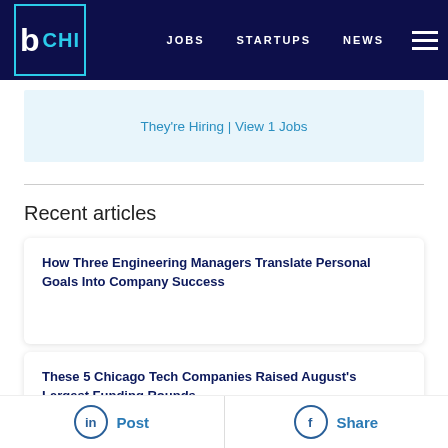b CHI | JOBS | STARTUPS | NEWS
They're Hiring | View 1 Jobs
Recent articles
How Three Engineering Managers Translate Personal Goals Into Company Success
These 5 Chicago Tech Companies Raised August's Largest Funding Rounds
Post | Share